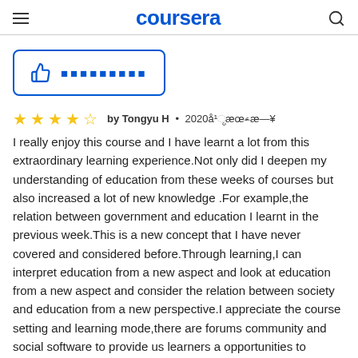coursera
[Figure (illustration): Thumbs up icon with Chinese characters in a blue bordered rounded rectangle button]
★★★★☆ by Tongyu H • 2020年3月3日
I really enjoy this course and I have learnt a lot from this extraordinary learning experience.Not only did I deepen my understanding of education from these weeks of courses but also increased a lot of new knowledge .For example,the relation between government and education I learnt in the previous week.This is a new concept that I have never covered and considered before.Through learning,I can interpret education from a new aspect and look at education from a new aspect and consider the relation between society and education from a new perspective.I appreciate the course setting and learning mode,there are forums community and social software to provide us learners a opportunities to communicate with other learners from all